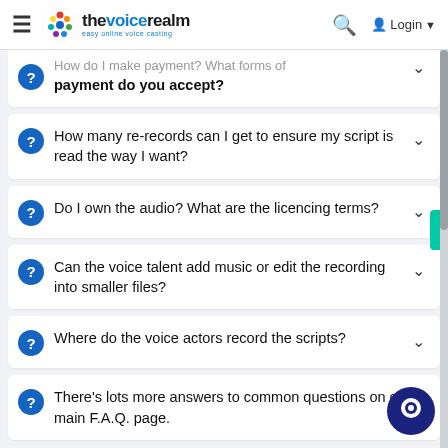thevoicerealm — easy online voice casting — Login
How do I make payment? What forms of payment do you accept?
How many re-records can I get to ensure my script is read the way I want?
Do I own the audio? What are the licencing terms?
Can the voice talent add music or edit the recording into smaller files?
Where do the voice actors record the scripts?
There's lots more answers to common questions on our main F.A.Q. page.